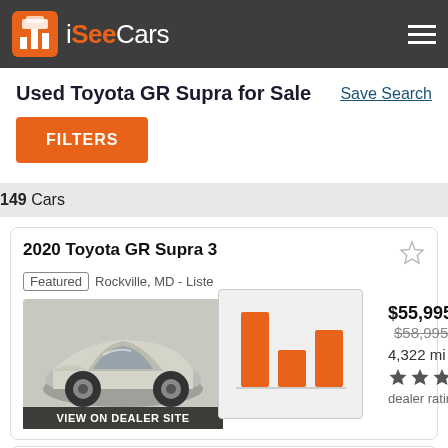iSeeCars
Used Toyota GR Supra for Sale
Save Search
FILTERS
149 Cars
2020 Toyota GR Supra 3
Featured   Rockville, MD - Liste...
[Figure (bar-chart): Bar chart showing price comparison with 3 orange bars of varying heights]
$55,995   $58,995
4,322 mi
dealer rating
VIEW ON DEALER SITE
2020 Toyota GR Supra 3.0